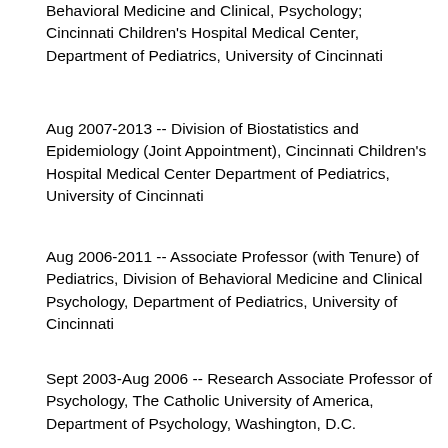Behavioral Medicine and Clinical, Psychology; Cincinnati Children's Hospital Medical Center, Department of Pediatrics, University of Cincinnati
Aug 2007-2013 -- Division of Biostatistics and Epidemiology (Joint Appointment), Cincinnati Children's Hospital Medical Center Department of Pediatrics, University of Cincinnati
Aug 2006-2011 -- Associate Professor (with Tenure) of Pediatrics, Division of Behavioral Medicine and Clinical Psychology, Department of Pediatrics, University of Cincinnati
Sept 2003-Aug 2006 -- Research Associate Professor of Psychology, The Catholic University of America, Department of Psychology, Washington, D.C.
Sept 1998-Aug 2003 -- Research Assistant Professor of Social Work, University of Southern California School of